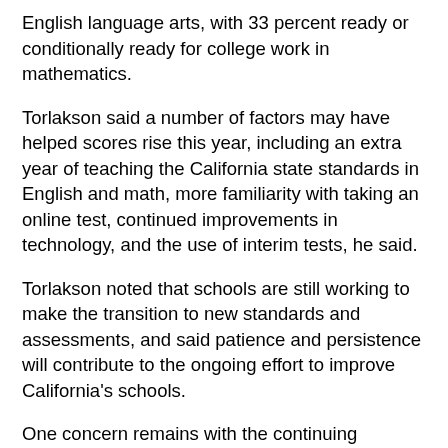English language arts, with 33 percent ready or conditionally ready for college work in mathematics.
Torlakson said a number of factors may have helped scores rise this year, including an extra year of teaching the California state standards in English and math, more familiarity with taking an online test, continued improvements in technology, and the use of interim tests, he said.
Torlakson noted that schools are still working to make the transition to new standards and assessments, and said patience and persistence will contribute to the ongoing effort to improve California's schools.
One concern remains with the continuing achievement gap, with significantly lower scores among students from low-income families, English learners and some ethnic groups compared to other students.
Statewide scores for all student groups rose in both subjects tested (see Table 5 and Table 6). For example, average